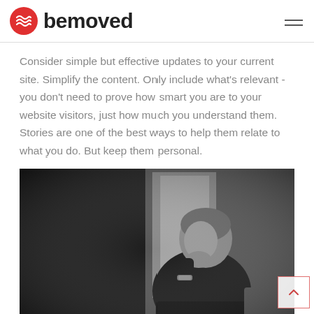bemoved
Consider simple but effective updates to your current site. Simplify the content. Only include what's relevant - you don't need to prove how smart you are to your website visitors, just how much you understand them. Stories are one of the best ways to help them relate to what you do. But keep them personal.
[Figure (photo): Black and white portrait photograph of a middle-aged man with curly hair, wearing a dark shirt, sitting with his chin resting on his hand, looking thoughtful, with a window and blurred outdoor background behind him.]